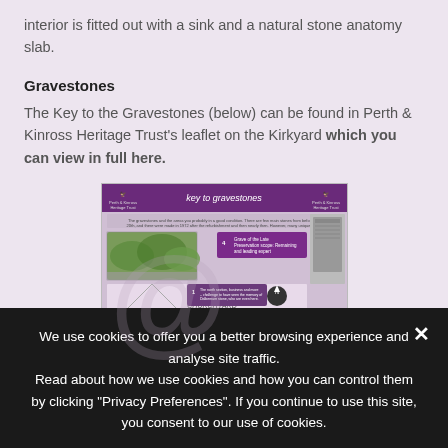interior is fitted out with a sink and a natural stone anatomy slab.
Gravestones
The Key to the Gravestones (below) can be found in Perth & Kinross Heritage Trust's leaflet on the Kirkyard which you can view in full here.
[Figure (infographic): A leaflet titled 'key to gravestones' from Perth & Kinross Heritage Trust, showing a map of the churchyard with numbered points and photos of gravestones.]
We use cookies to offer you a better browsing experience and analyse site traffic. Read about how we use cookies and how you can control them by clicking "Privacy Preferences". If you continue to use this site, you consent to our use of cookies.